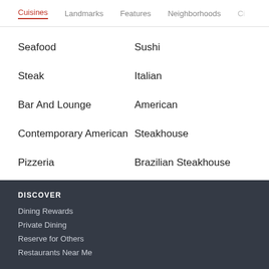Cuisines  Landmarks  Features  Neighborhoods  C…
Seafood
Sushi
Steak
Italian
Bar And Lounge
American
Contemporary American
Steakhouse
Pizzeria
Brazilian Steakhouse
DISCOVER
Dining Rewards
Private Dining
Reserve for Others
Restaurants Near Me